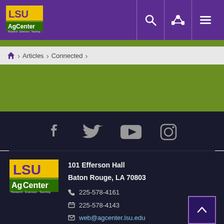[Figure (logo): LSU AgCenter logo in header — yellow LSU letters on purple background with AgCenter text and Research Extension Teaching tagline]
LSU AgCenter website header with search, share, and menu icons
Articles > Connected >
[Figure (infographic): Social media icons row: Facebook, Twitter, YouTube, Instagram on dark navy background]
[Figure (logo): LSU AgCenter logo — yellow LSU text on purple/green background with Research · Extension · Teaching tagline]
101 Efferson Hall
Baton Rouge, LA 70803
225-578-4161
225-578-4143
web@agcenter.lsu.edu